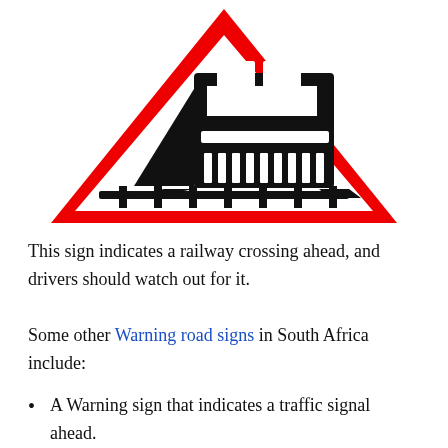[Figure (illustration): Red triangular warning road sign with a black train/locomotive illustration inside, indicating a railway crossing ahead. The triangle has a thick red border and white interior with the train graphic.]
This sign indicates a railway crossing ahead, and drivers should watch out for it.
Some other Warning road signs in South Africa include:
A Warning sign that indicates a traffic signal ahead.